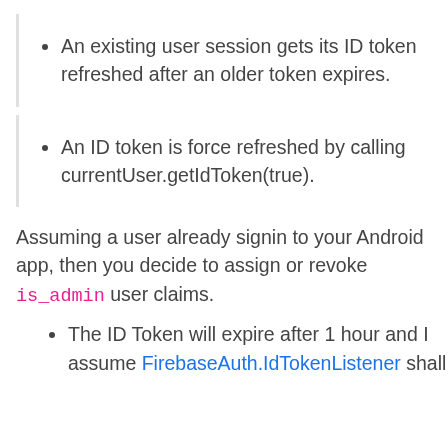An existing user session gets its ID token refreshed after an older token expires.
An ID token is force refreshed by calling currentUser.getIdToken(true).
Assuming a user already signin to your Android app, then you decide to assign or revoke is_admin user claims.
The ID Token will expire after 1 hour and I assume FirebaseAuth.IdTokenListener shall